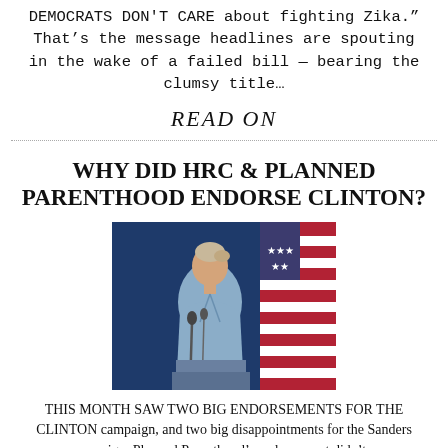DEMOCRATS DON'T CARE about fighting Zika.” That’s the message headlines are spouting in the wake of a failed bill — bearing the clumsy title…
READ ON
WHY DID HRC & PLANNED PARENTHOOD ENDORSE CLINTON?
[Figure (photo): A woman in a light blue blazer speaking at a podium with microphones, with an American flag visible in the background and a blue curtain backdrop.]
THIS MONTH SAW TWO BIG ENDORSEMENTS FOR THE CLINTON campaign, and two big disappointments for the Sanders campaign. Planned Parenthood’s endorsement didn’t...